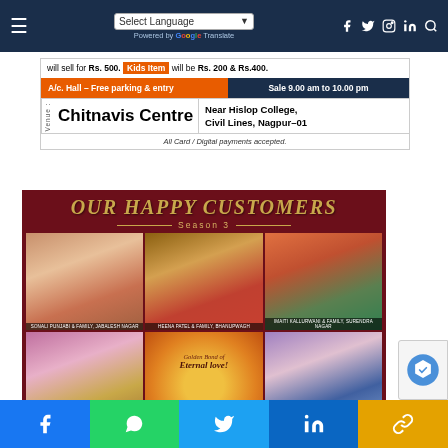Navigation bar with Select Language dropdown, Google Translate, and social icons
[Figure (infographic): Advertisement banner: will sell for Rs. 500. Kids Item will be Rs. 200 & Rs. 400. A/c. Hall - Free parking & entry. Sale 9.00 am to 10.00 pm. Venue: Chitnavis Centre, Near Hislop College, Civil Lines, Nagpur-01. All Card / Digital payments accepted.]
[Figure (photo): Our Happy Customers Season 3 - collage of 6 customer family photos on dark red background with gold text]
Social sharing bar: Facebook, WhatsApp, Twitter, LinkedIn, Link